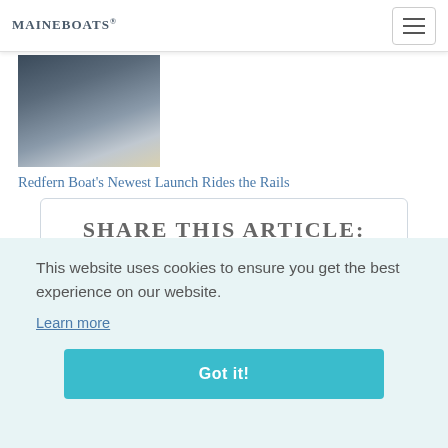MaineBoats
[Figure (photo): Photo of a boat launch facility with boats on rails or ramps, dock structure visible]
Redfern Boat's Newest Launch Rides the Rails
SHARE THIS ARTICLE:
This website uses cookies to ensure you get the best experience on our website.
Learn more
Got it!